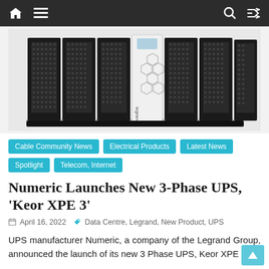Navigation bar with home, menu, search, and shuffle icons
[Figure (photo): Large modular UPS system (Keor XPE 3) with black perforated cabinet panels and one white central module with hexagonal pattern, made by Legrand/Numeric]
Cable Community News   Electrical Products   Latest News   Spotlight   Telecom, Internet
Numeric Launches New 3-Phase UPS, 'Keor XPE 3'
April 16, 2022   Data Centre, Legrand, New Product, UPS
UPS manufacturer Numeric, a company of the Legrand Group, announced the launch of its new 3 Phase UPS, Keor XPE